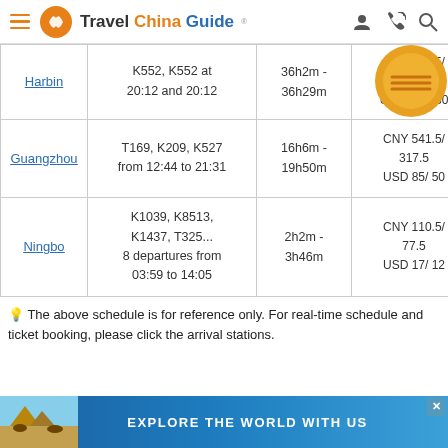Travel China Guide
| City | Trains | Duration | Price |
| --- | --- | --- | --- |
| Harbin | K552, K552 at 20:12 and 20:12 | 36h2m - 36h29m | CNY 780.5/ 506.5
USD 123/ 80 |
| Guangzhou | T169, K209, K527 from 12:44 to 21:31 | 16h6m - 19h50m | CNY 541.5/ 317.5
USD 85/ 50 |
| Ningbo | K1039, K8513, K1437, T325...
8 departures from 03:59 to 14:05 | 2h2m - 3h46m | CNY 110.5/ 77.5
USD 17/ 12 |
The above schedule is for reference only. For real-time schedule and ticket booking, please click the arrival stations.
[Figure (screenshot): Partially visible section header or content below the footnote]
[Figure (screenshot): Advertisement banner at bottom: EXPLORE THE WORLD WITH US with pyramids/camels photo]